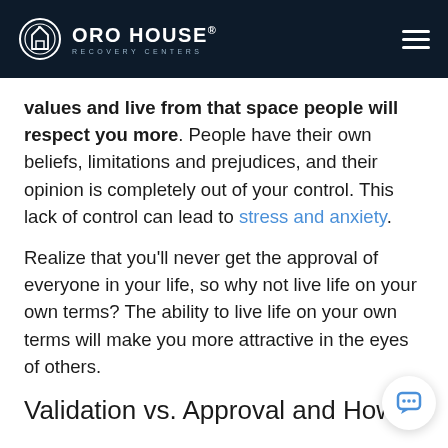ORO HOUSE® RECOVERY CENTERS
values and live from that space people will respect you more. People have their own beliefs, limitations and prejudices, and their opinion is completely out of your control. This lack of control can lead to stress and anxiety.
Realize that you'll never get the approval of everyone in your life, so why not live life on your own terms? The ability to live life on your own terms will make you more attractive in the eyes of others.
Validation vs. Approval and How to